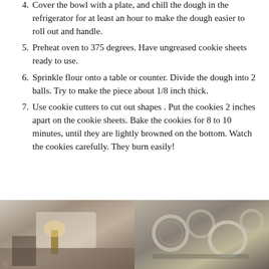Cover the bowl with a plate, and chill the dough in the refrigerator for at least an hour to make the dough easier to roll out and handle.
Preheat oven to 375 degrees.  Have ungreased cookie sheets ready to use.
Sprinkle flour onto a table or counter.  Divide the dough into 2 balls.  Try to make the piece about 1/8 inch thick.
Use cookie cutters to cut out shapes .  Put the cookies 2 inches apart on the cookie sheets.  Bake the cookies for 8 to 10 minutes, until they are lightly browned on the bottom.  Watch the cookies carefully.  They burn easily!
[Figure (photo): Two photos side by side: left shows a kitchen scene with a bowl or mixer on a counter with a lamp visible; right shows metallic cookie cutters in various shapes.]